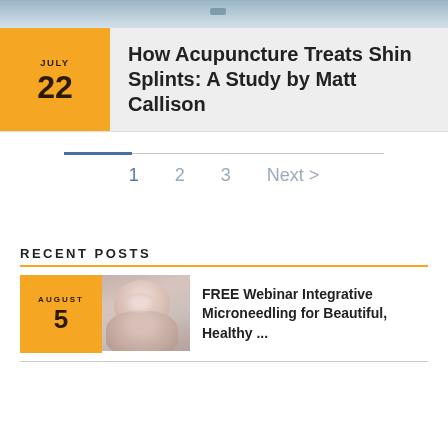[Figure (photo): Top banner photo, partial view of a body of water with a boat or vehicles visible]
How Acupuncture Treats Shin Splints: A Study by Matt Callison
JULY 22
1  2  3  Next >
RECENT POSTS
AUGUST 5
FREE Webinar Integrative Microneedling for Beautiful, Healthy ...